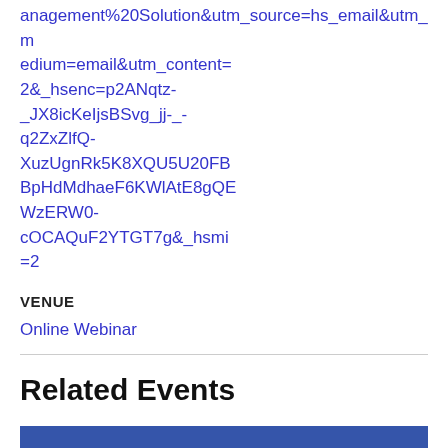anagement%20Solution&utm_source=hs_email&utm_medium=email&utm_content=2&_hsenc=p2ANqtz-_JX8icKeIjsBSvg_jj-_-q2ZxZlfQ-XuzUgnRk5K8XQU5U20FBBpHdMdhaeF6KWlAtE8gQEWzERW0-cOCAQuF2YTGT7g&_hsmi=2
VENUE
Online Webinar
Related Events